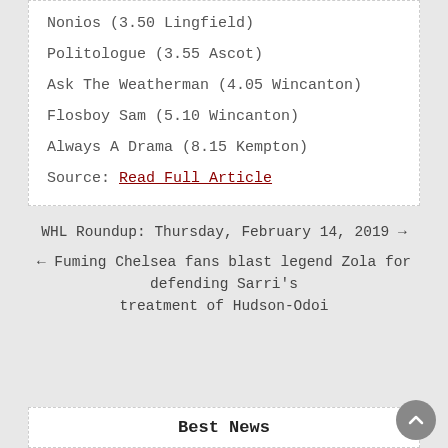Nonios (3.50 Lingfield)
Politologue (3.55 Ascot)
Ask The Weatherman (4.05 Wincanton)
Flosboy Sam (5.10 Wincanton)
Always A Drama (8.15 Kempton)
Source: Read Full Article
WHL Roundup: Thursday, February 14, 2019 →
← Fuming Chelsea fans blast legend Zola for defending Sarri's treatment of Hudson-Odoi
Best News